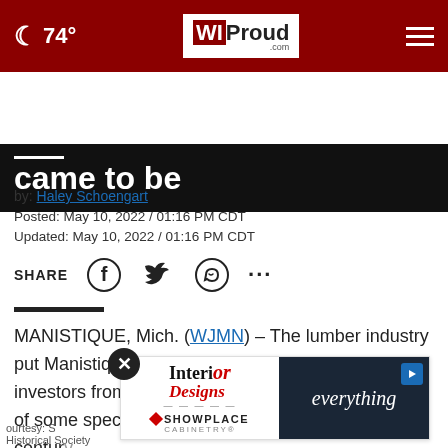☾ 74° | WI Proud .com | ☰
came to be
by: Haley Schoengart
Posted: May 10, 2022 / 01:16 PM CDT
Updated: May 10, 2022 / 01:16 PM CDT
SHARE [Facebook] [Twitter] [WhatsApp] [...]
MANISTIQUE, Mich. (WJMN) – The lumber industry put Manistique on the map when a group of investors from New York discovered an abundance of some specific trees in the area in the mid 19th century.
[Figure (advertisement): Interior Designs Showplace Cabinetry advertisement with 'everything' text on dark background]
courtesy: [Historical Society]